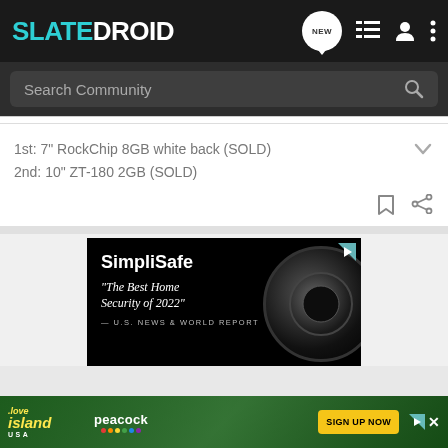SLATEDROID
Search Community
1st: 7" RockChip 8GB white back (SOLD)
2nd: 10" ZT-180 2GB (SOLD)
[Figure (screenshot): SimpliSafe advertisement with camera image and text: 'The Best Home Security of 2022' — U.S. News & World Report]
[Figure (screenshot): Love Island USA / Peacock 'Sign Up Now' banner advertisement]